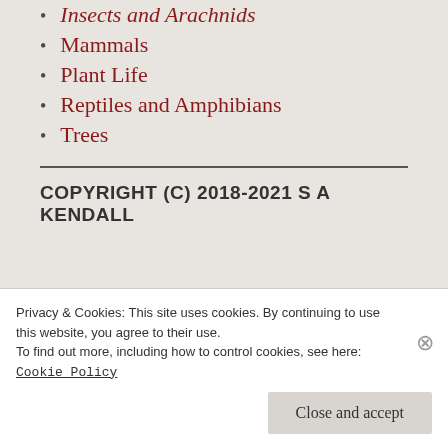Insects and Arachnids
Mammals
Plant Life
Reptiles and Amphibians
Trees
COPYRIGHT (C) 2018-2021 S A KENDALL
Privacy & Cookies: This site uses cookies. By continuing to use this website, you agree to their use.
To find out more, including how to control cookies, see here:
Cookie Policy